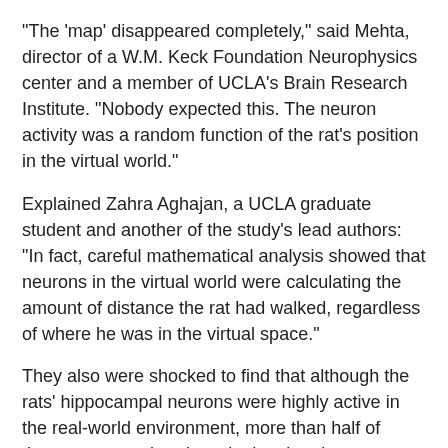"The 'map' disappeared completely," said Mehta, director of a W.M. Keck Foundation Neurophysics center and a member of UCLA's Brain Research Institute. "Nobody expected this. The neuron activity was a random function of the rat's position in the virtual world."
Explained Zahra Aghajan, a UCLA graduate student and another of the study's lead authors: "In fact, careful mathematical analysis showed that neurons in the virtual world were calculating the amount of distance the rat had walked, regardless of where he was in the virtual space."
They also were shocked to find that although the rats' hippocampal neurons were highly active in the real-world environment, more than half of those neurons shut down in the virtual space.
The virtual world used in the study was very similar to virtual reality environments used by humans, and neurons in a rat's brain would be very hard to distinguish from neurons in the human